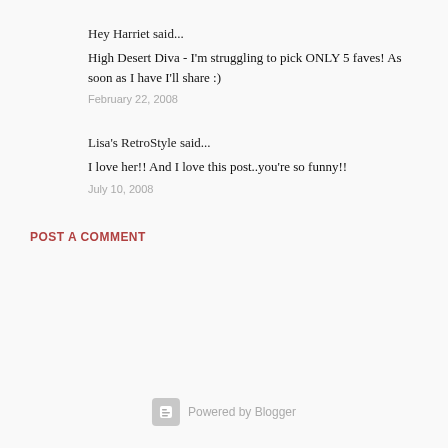Hey Harriet said...
High Desert Diva - I'm struggling to pick ONLY 5 faves! As soon as I have I'll share :)
February 22, 2008
Lisa's RetroStyle said...
I love her!! And I love this post..you're so funny!!
July 10, 2008
POST A COMMENT
Powered by Blogger